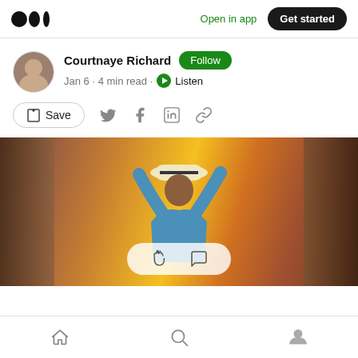Open in app  Get started
Courtnaye Richard  Follow
Jan 6 · 4 min read · Listen
Save
[Figure (photo): Person in a hat with arms raised joyfully in a sunlit alleyway]
Home  Search  Profile